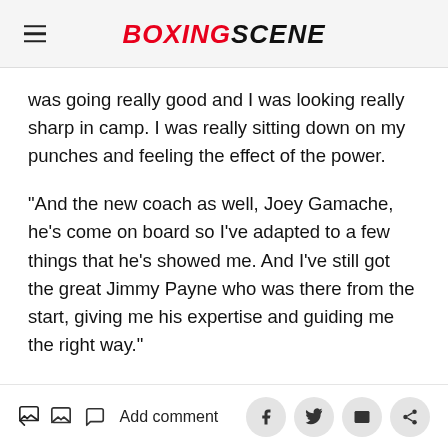BOXINGSCENE
was going really good and I was looking really sharp in camp. I was really sitting down on my punches and feeling the effect of the power.
“And the new coach as well, Joey Gamache, he’s come on board so I’ve adapted to a few things that he’s showed me. And I’ve still got the great Jimmy Payne who was there from the start, giving me his expertise and guiding me the right way.”
Add comment